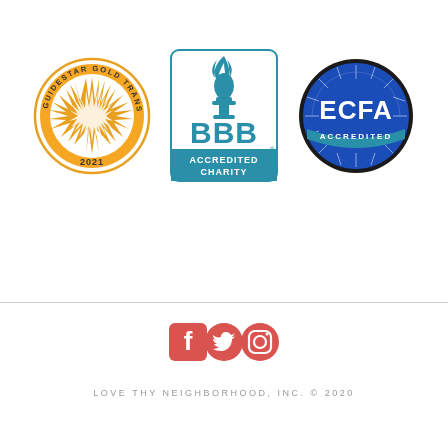[Figure (logo): GuideStar Gold Transparency 2021 seal — circular gold and white badge with star burst in center and text around the border]
[Figure (logo): BBB Accredited Charity logo — rectangular badge with teal/blue BBB torch flame icon and 'BBB ACCREDITED CHARITY' text]
[Figure (logo): ECFA Accredited seal — circular badge with blue background, white sunburst, 'ECFA' in large white letters, 'ACCREDITED' below in teal band]
[Figure (logo): Social media icons: Facebook (red square with f), Twitter (red circle with bird), Instagram (red circle with camera)]
LOVE THY NEIGHBORHOOD, INC. © 2020